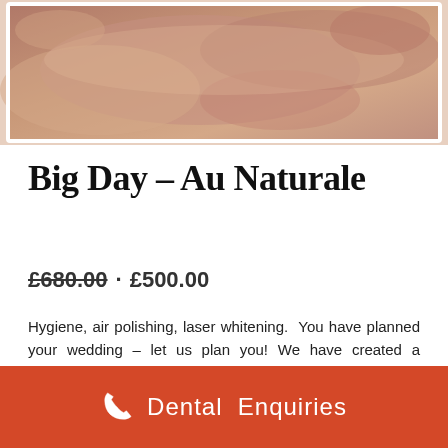[Figure (photo): Close-up photo of hands, skin-tone, massage or dental treatment context]
Big Day – Au Naturale
£680.00 · £500.00
Hygiene, air polishing, laser whitening. You have planned your wedding – let us plan you! We have created a package for the perfect you, who is attending the perfect wedding.
- 1 + Add to basket
Dental Enquiries